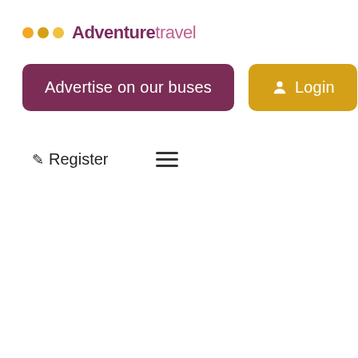[Figure (logo): Adventure travel logo with three colored dots (orange, gold, yellow) and brand name 'Adventure travel' in purple and pink]
[Figure (screenshot): Navigation buttons: 'Advertise on our buses' (dark magenta/purple button) and 'Login' (golden/yellow button with person icon)]
✏ Register  ≡